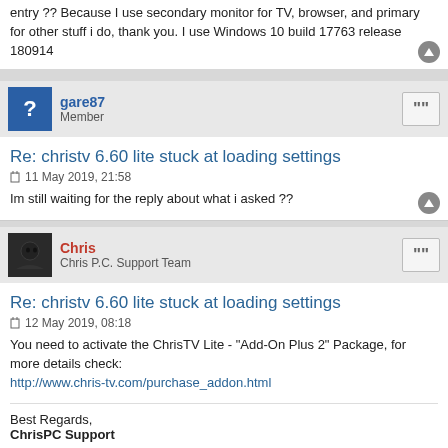entry ?? Because I use secondary monitor for TV, browser, and primary for other stuff i do, thank you. I use Windows 10 build 17763 release 180914
gare87
Member
Re: christv 6.60 lite stuck at loading settings
11 May 2019, 21:58
Im still waiting for the reply about what i asked ??
Chris
Chris P.C. Support Team
Re: christv 6.60 lite stuck at loading settings
12 May 2019, 08:18
You need to activate the ChrisTV Lite - "Add-On Plus 2" Package, for more details check:
http://www.chris-tv.com/purchase_addon.html
Best Regards,
ChrisPC Support